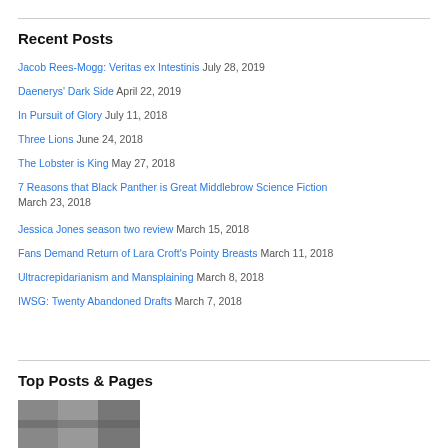Recent Posts
Jacob Rees-Mogg: Veritas ex Intestinis July 28, 2019
Daenerys' Dark Side April 22, 2019
In Pursuit of Glory July 11, 2018
Three Lions June 24, 2018
The Lobster is King May 27, 2018
7 Reasons that Black Panther is Great Middlebrow Science Fiction March 23, 2018
Jessica Jones season two review March 15, 2018
Fans Demand Return of Lara Croft's Pointy Breasts March 11, 2018
Ultracrepidarianism and Mansplaining March 8, 2018
IWSG: Twenty Abandoned Drafts March 7, 2018
Top Posts & Pages
[Figure (photo): Partial photo visible at bottom of page]